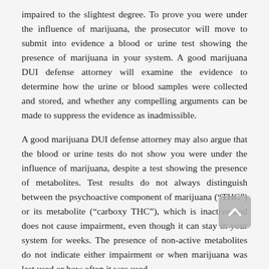impaired to the slightest degree. To prove you were under the influence of marijuana, the prosecutor will move to submit into evidence a blood or urine test showing the presence of marijuana in your system. A good marijuana DUI defense attorney will examine the evidence to determine how the urine or blood samples were collected and stored, and whether any compelling arguments can be made to suppress the evidence as inadmissible.
A good marijuana DUI defense attorney may also argue that the blood or urine tests do not show you were under the influence of marijuana, despite a test showing the presence of metabolites. Test results do not always distinguish between the psychoactive component of marijuana (“THC”) or its metabolite (“carboxy THC”), which is inactive and does not cause impairment, even though it can stay in your system for weeks. The presence of non-active metabolites do not indicate either impairment or when marijuana was last used or how often it was used.
Even the new Arizona Medical Marijuana law recognizes